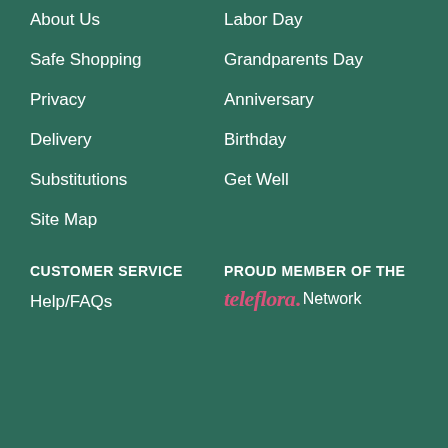About Us
Labor Day
Safe Shopping
Grandparents Day
Privacy
Anniversary
Delivery
Birthday
Substitutions
Get Well
Site Map
CUSTOMER SERVICE
PROUD MEMBER OF THE
Help/FAQs
[Figure (logo): teleflora. Network logo — 'teleflora' in pink italic serif font followed by a period, then 'Network' in white regular font]